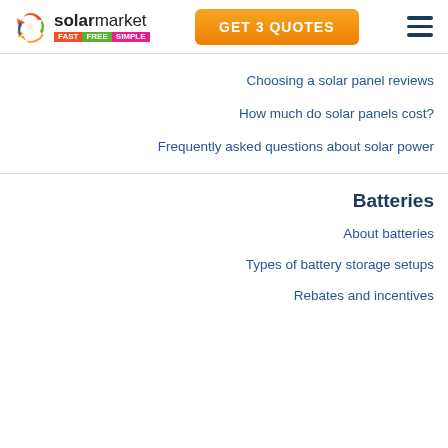solarmarket FAST FREE SIMPLE | GET 3 QUOTES
Choosing a solar panel reviews
How much do solar panels cost?
Frequently asked questions about solar power
Batteries
About batteries
Types of battery storage setups
Rebates and incentives